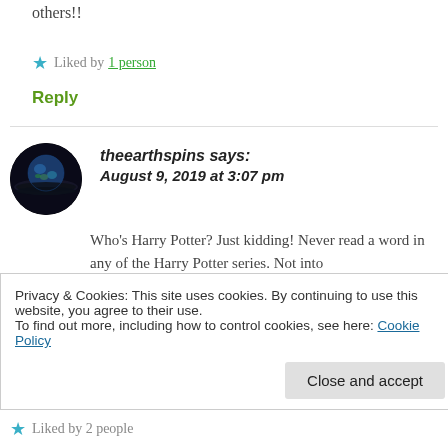others!!
★ Liked by 1 person
Reply
theearthspins says: August 9, 2019 at 3:07 pm
Who's Harry Potter? Just kidding! Never read a word in any of the Harry Potter series. Not into
Privacy & Cookies: This site uses cookies. By continuing to use this website, you agree to their use.
To find out more, including how to control cookies, see here: Cookie Policy
Close and accept
★ Liked by 2 people